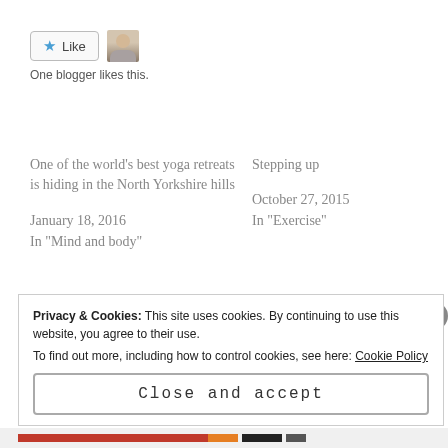[Figure (other): Like button with star icon and small blogger avatar photo]
One blogger likes this.
One of the world's best yoga retreats is hiding in the North Yorkshire hills
January 18, 2016
In "Mind and body"
Stepping up
October 27, 2015
In "Exercise"
Lazy weekends in London
July 29, 2015
In "Climb"
Privacy & Cookies: This site uses cookies. By continuing to use this website, you agree to their use.
To find out more, including how to control cookies, see here: Cookie Policy
Close and accept